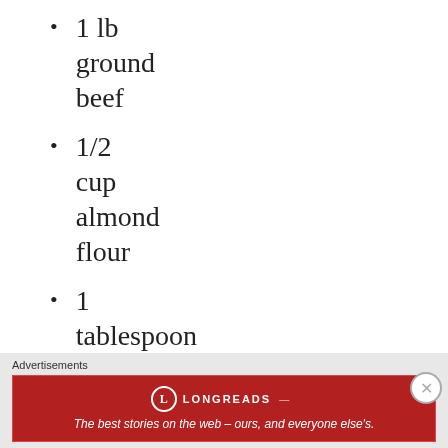1 lb ground beef
1/2 cup almond flour
1 tablespoon fresh parsley,
Advertisements
[Figure (infographic): Longreads advertisement banner: red background with logo and text 'The best stories on the web — ours, and everyone else's.']